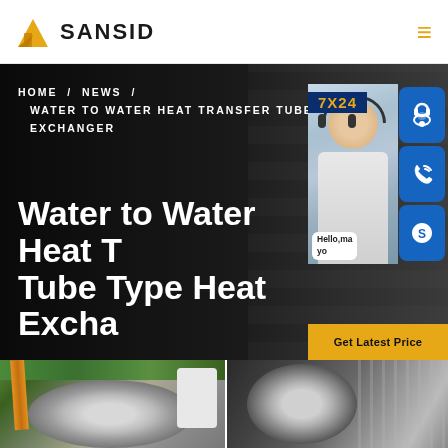SANSID
HOME / NEWS / WATER TO WATER HEAT TRANSFER TUBE TYPE EXCHANGER
Water to Water Heat Transfer Tube Type Heat Exchanger
[Figure (screenshot): Customer support representative with 7X24 support badge and contact icons (headset, phone, Skype) and Get Latest Price button]
[Figure (photo): Two industrial photos showing heat exchanger tube type components in a factory setting]